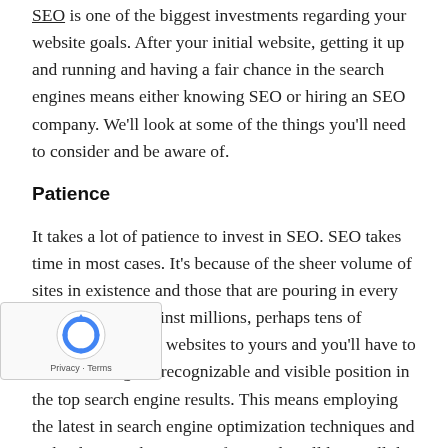SEO is one of the biggest investments regarding your website goals. After your initial website, getting it up and running and having a fair chance in the search engines means either knowing SEO or hiring an SEO company. We'll look at some of the things you'll need to consider and be aware of.
Patience
It takes a lot of patience to invest in SEO. SEO takes time in most cases. It's because of the sheer volume of sites in existence and those that are pouring in every day. You're up against millions, perhaps tens of millions of similar websites to yours and you'll have to beat them to get a recognizable and visible position in the top search engine results. This means employing the latest in search engine optimization techniques and technologies. The SEO professionals will know all the tactics and techniques to engage in and that means knowing not only how a website